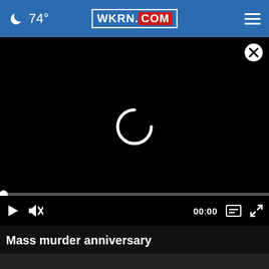74° WKRN.COM
[Figure (screenshot): Video player showing a loading spinner on a black background. Progress bar at bottom with playhead at start. Controls show play button, mute button, timestamp 00:00, captions icon, and fullscreen icon. Close (X) button top right.]
Mass murder anniversary